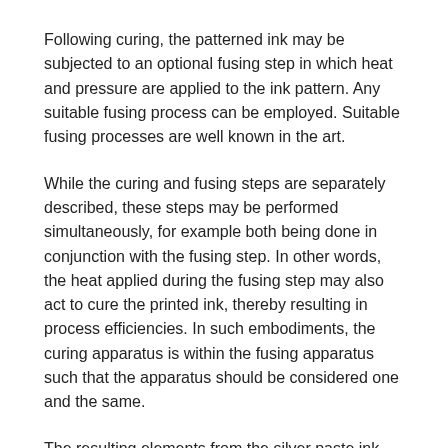Following curing, the patterned ink may be subjected to an optional fusing step in which heat and pressure are applied to the ink pattern. Any suitable fusing process can be employed. Suitable fusing processes are well known in the art.
While the curing and fusing steps are separately described, these steps may be performed simultaneously, for example both being done in conjunction with the fusing step. In other words, the heat applied during the fusing step may also act to cure the printed ink, thereby resulting in process efficiencies. In such embodiments, the curing apparatus is within the fusing apparatus such that the apparatus should be considered one and the same.
The resulting elements from the silver paste ink may be used as electrodes, conductive pads, interconnect, conductive lines, conductive tracks, and the like in electronic devices such as thin film transistors, organic light emitting diodes, RFID (radio frequency identification) tags, photovoltaic, displays, printed antenna and other electronic devices which require conductive elements or components.